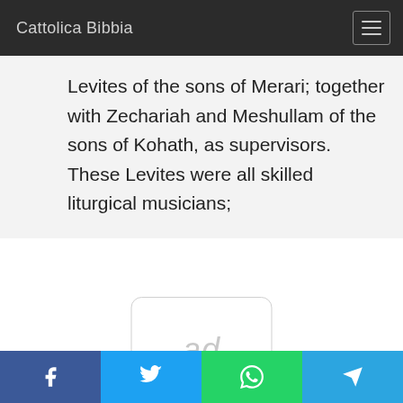Cattolica Bibbia
Levites of the sons of Merari; together with Zechariah and Meshullam of the sons of Kohath, as supervisors. These Levites were all skilled liturgical musicians;
[Figure (other): Advertisement placeholder box with text 'ad']
Social share buttons: Facebook, Twitter, WhatsApp, Telegram